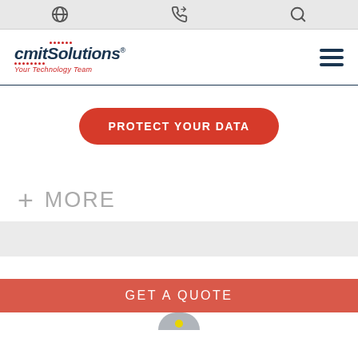Utility bar with globe, phone, and search icons
[Figure (logo): CMIT Solutions logo with tagline 'Your Technology Team' and red dot decorations]
PROTECT YOUR DATA
+ MORE
GET A QUOTE